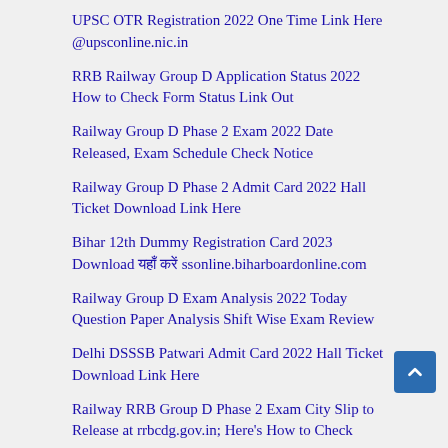UPSC OTR Registration 2022 One Time Link Here @upsconline.nic.in
RRB Railway Group D Application Status 2022 How to Check Form Status Link Out
Railway Group D Phase 2 Exam 2022 Date Released, Exam Schedule Check Notice
Railway Group D Phase 2 Admit Card 2022 Hall Ticket Download Link Here
Bihar 12th Dummy Registration Card 2023 Download यहाँ करें ssonline.biharboardonline.com
Railway Group D Exam Analysis 2022 Today Question Paper Analysis Shift Wise Exam Review
Delhi DSSSB Patwari Admit Card 2022 Hall Ticket Download Link Here
Railway RRB Group D Phase 2 Exam City Slip to Release at rrbcdg.gov.in; Here's How to Check
IRPS Clerk Admit Card 2022 Released Prelims Call Letter Download...